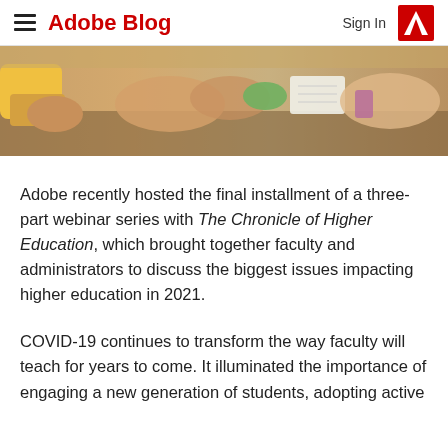Adobe Blog | Sign In
[Figure (photo): Students at a table working together, hands visible with notebooks and devices, warm tones.]
Adobe recently hosted the final installment of a three-part webinar series with The Chronicle of Higher Education, which brought together faculty and administrators to discuss the biggest issues impacting higher education in 2021.
COVID-19 continues to transform the way faculty will teach for years to come. It illuminated the importance of engaging a new generation of students, adopting active